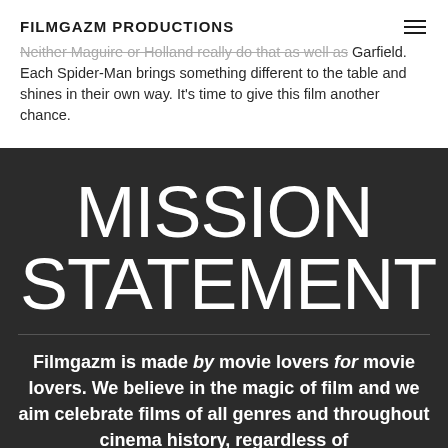FILMGAZM PRODUCTIONS
Neither Maguire or Holland really do that as well as Garfield. Each Spider-Man brings something different to the table and shines in their own way. It's time to give this film another chance.
MISSION STATEMENT
Filmgazm is made by movie lovers for movie lovers. We believe in the magic of film and we aim celebrate films of all genres and throughout cinema history, regardless of